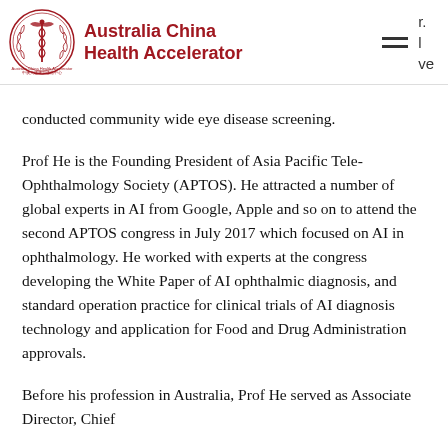Australia China Health Accelerator
conducted community wide eye disease screening.
Prof He is the Founding President of Asia Pacific Tele-Ophthalmology Society (APTOS). He attracted a number of global experts in AI from Google, Apple and so on to attend the second APTOS congress in July 2017 which focused on AI in ophthalmology. He worked with experts at the congress developing the White Paper of AI ophthalmic diagnosis, and standard operation practice for clinical trials of AI diagnosis technology and application for Food and Drug Administration approvals.
Before his profession in Australia, Prof He served as Associate Director, Chief